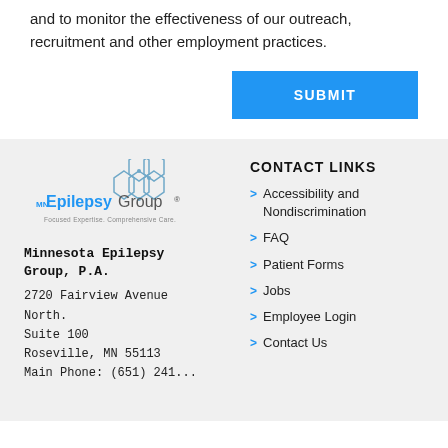and to monitor the effectiveness of our outreach, recruitment and other employment practices.
SUBMIT
[Figure (logo): MN Epilepsy Group logo with hexagon molecular shapes and tagline 'Focused Expertise. Comprehensive Care.']
Minnesota Epilepsy Group, P.A.
2720 Fairview Avenue North.
Suite 100
Roseville, MN 55113
Main Phone: (651) 241...
CONTACT LINKS
Accessibility and Nondiscrimination
FAQ
Patient Forms
Jobs
Employee Login
Contact Us